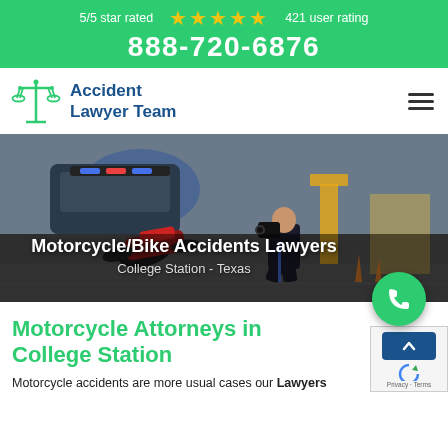5/5 star rated ★★★★★ 421 user rating 888-720-6876
[Figure (logo): Accident Lawyer Team logo with scales of justice icon and blue text]
[Figure (photo): Motorcycle accident scene with police officer photographing a wrecked motorcycle on the road, police car with lights flashing in background]
Motorcycle/Bike Accidents Lawyers
College Station - Texas
Motorcycle Attorneys in College Station
Motorcycle accidents are more usual cases our Lawyers